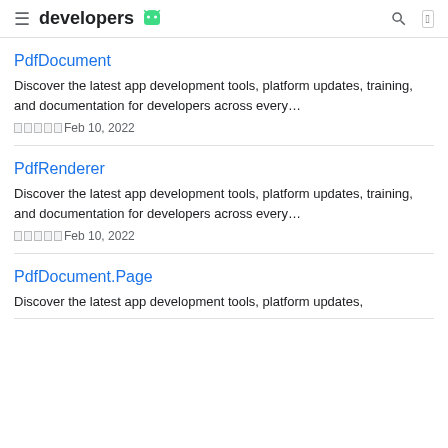developers [android icon]
PdfDocument
Discover the latest app development tools, platform updates, training, and documentation for developers across every...
□□□□□Feb 10, 2022
PdfRenderer
Discover the latest app development tools, platform updates, training, and documentation for developers across every...
□□□□□Feb 10, 2022
PdfDocument.Page
Discover the latest app development tools, platform updates,